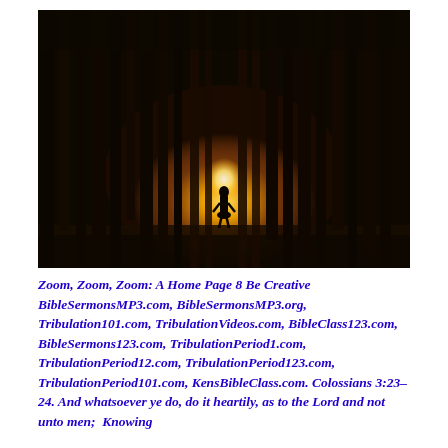[Figure (photo): A silhouette of a person standing in a dark forest with tall trees, backlit by a bright golden light source in the background creating a dramatic atmospheric effect.]
Zoom, Zoom, Zoom: A Home Page 8 Be Creative BibleSermonsMP3.com, BibleSermonsMP3.org, Tribulation101.com, TribulationVideos.com, BibleClass123.com, BibleSermons123.com, TribulationPeriod1.com, TribulationPeriod12.com, TribulationPeriod123.com, TribulationPeriod101.com, KensBibleClass.com. Colossians 3:23-24. And whatsoever ye do, do it heartily, as to the Lord and not unto men; Knowing